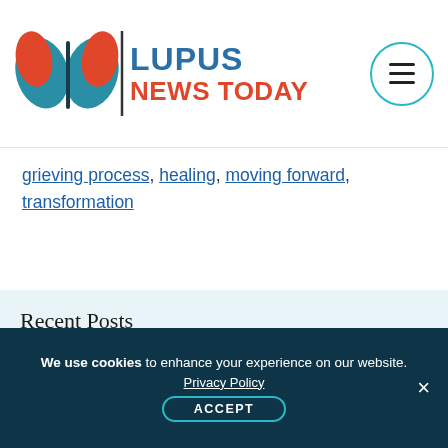[Figure (logo): Lupus News Today logo with butterfly/leaf icon in teal and red, text 'LUPUS NEWS TODAY' in blue and red]
grieving process, healing, moving forward, transformation
Recent Posts
Global Survey Finds Lupus Greatly Affects Physical Function and Life Quality
We use cookies to enhance your experience on our website. Privacy Policy ACCEPT